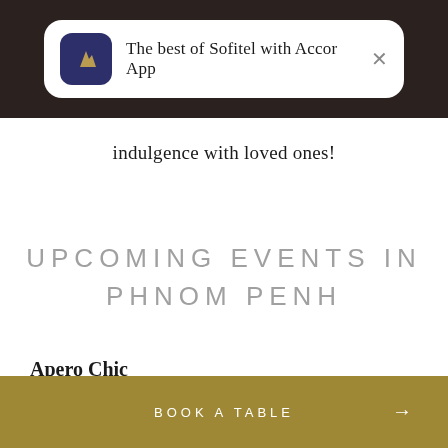The best of Sofitel with Accor App
indulgence with loved ones!
UPCOMING EVENTS IN PHNOM PENH
Apero Chic
BOOK A TABLE